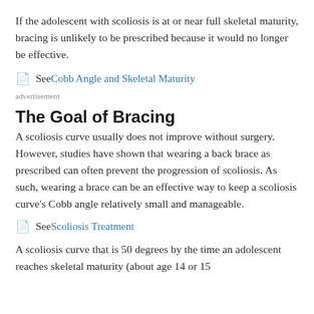If the adolescent with scoliosis is at or near full skeletal maturity, bracing is unlikely to be prescribed because it would no longer be effective.
See Cobb Angle and Skeletal Maturity
advertisement
The Goal of Bracing
A scoliosis curve usually does not improve without surgery. However, studies have shown that wearing a back brace as prescribed can often prevent the progression of scoliosis. As such, wearing a brace can be an effective way to keep a scoliosis curve's Cobb angle relatively small and manageable.
See Scoliosis Treatment
A scoliosis curve that is 50 degrees by the time an adolescent reaches skeletal maturity (about age 14 or 15